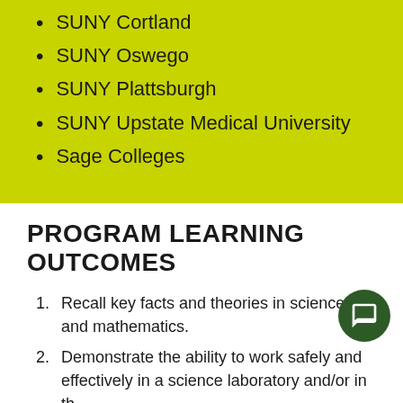SUNY Cortland
SUNY Oswego
SUNY Plattsburgh
SUNY Upstate Medical University
Sage Colleges
PROGRAM LEARNING OUTCOMES
Recall key facts and theories in science and mathematics.
Demonstrate the ability to work safely and effectively in a science laboratory and/or in th
Evaluate the validity of mathematical or scientific information when abstracted from technical, scientific, and/or other sources.
Employ written and verbal communication skills, including the appropriate use of technology, to